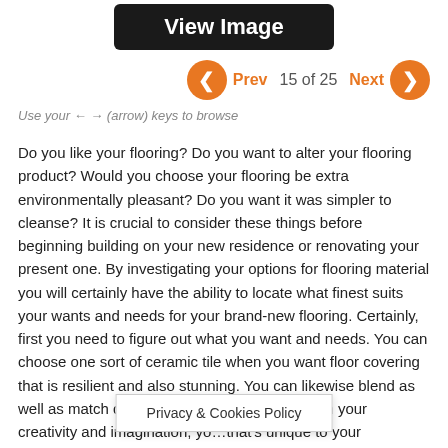[Figure (screenshot): View Image button - dark rounded rectangle with white bold text]
[Figure (screenshot): Navigation row with orange circle left arrow, Prev label, 15 of 25 count, Next label, orange circle right arrow]
Use your ← → (arrow) keys to browse
Do you like your flooring? Do you want to alter your flooring product? Would you choose your flooring be extra environmentally pleasant? Do you want it was simpler to cleanse? It is crucial to consider these things before beginning building on your new residence or renovating your present one. By investigating your options for flooring material you will certainly have the ability to locate what finest suits your wants and needs for your brand-new flooring. Certainly, first you need to figure out what you want and needs. You can choose one sort of ceramic tile when you want floor covering that is resilient and also stunning. You can likewise blend as well as match different materials too. Along with your creativity and imagination, yo…that's unique to your residence and offer th…great
Privacy & Cookies Policy